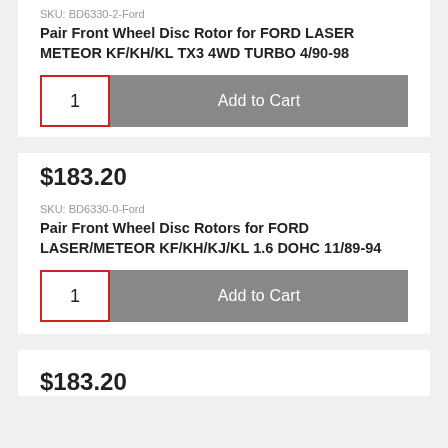SKU: BD6330-2-Ford
Pair Front Wheel Disc Rotor for FORD LASER METEOR KF/KH/KL TX3 4WD TURBO 4/90-98
1
Add to Cart
$183.20
SKU: BD6330-0-Ford
Pair Front Wheel Disc Rotors for FORD LASER/METEOR KF/KH/KJ/KL 1.6 DOHC 11/89-94
1
Add to Cart
$183.20